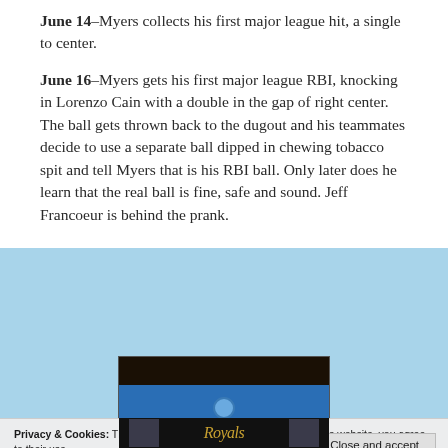June 14–Myers collects his first major league hit, a single to center.
June 16–Myers gets his first major league RBI, knocking in Lorenzo Cain with a double in the gap of right center. The ball gets thrown back to the dugout and his teammates decide to use a separate ball dipped in chewing tobacco spit and tell Myers that is his RBI ball. Only later does he learn that the real ball is fine, safe and sound. Jeff Francoeur is behind the prank.
[Figure (photo): Partial photo showing dark top area and blue background with partial circle shape visible]
Privacy & Cookies: This site uses cookies. By continuing to use this website, you agree to their use.
To find out more, including how to control cookies, see here: Cookie Policy
[Figure (photo): Bottom strip showing Kansas City Royals jersey with Royals script text visible]